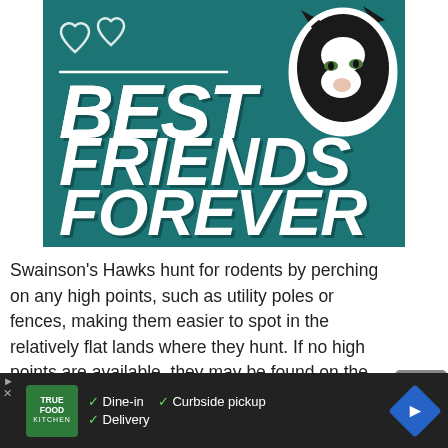[Figure (illustration): Promotional banner with teal background reading 'BEST FRIENDS FOREVER' in large bold italic white text with dark shadow, heart outlines top-left, and a black-and-white cat photo in a circular frame top-right.]
Swainson's Hawks hunt for rodents by perching on any high points, such as utility poles or fences, making them easier to spot in the relatively flat lands where they hunt. If no high points are available, they may be found on the ground in grassland and fields, hunting for insects.
[Figure (advertisement): Ad banner for True Food Kitchen showing logo and text: Dine-in, Curbside pickup, Delivery with checkmarks and a blue direction arrow icon.]